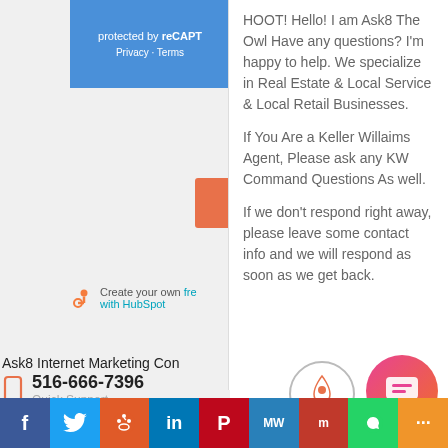protected by reCAPT
Privacy - Terms
Submit
Create your own free with HubSpot
HOOT! Hello! I am Ask8 The Owl Have any questions? I'm happy to help. We specialize in Real Estate & Local Service & Local Retail Businesses.

If You Are a Keller Willaims Agent, Please ask any KW Command Questions As well.

If we don't respond right away, please leave some contact info and we will respond as soon as we get back.
Ask8 Internet Marketing Con
516-666-7396
Quick Support
E-Mail Us
f  Twitter  Reddit  in  Pinterest  MW  Mix  WhatsApp  Share